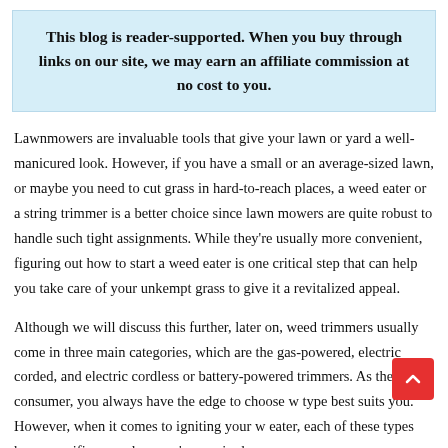This blog is reader-supported. When you buy through links on our site, we may earn an affiliate commission at no cost to you.
Lawnmowers are invaluable tools that give your lawn or yard a well-manicured look. However, if you have a small or an average-sized lawn, or maybe you need to cut grass in hard-to-reach places, a weed eater or a string trimmer is a better choice since lawn mowers are quite robust to handle such tight assignments. While they're usually more convenient, figuring out how to start a weed eater is one critical step that can help you take care of your unkempt grass to give it a revitalized appeal.
Although we will discuss this further, later on, weed trimmers usually come in three main categories, which are the gas-powered, electric corded, and electric cordless or battery-powered trimmers. As the final consumer, you always have the edge to choose what type best suits you. However, when it comes to igniting your weed eater, each of these types has a specific procedure you're required